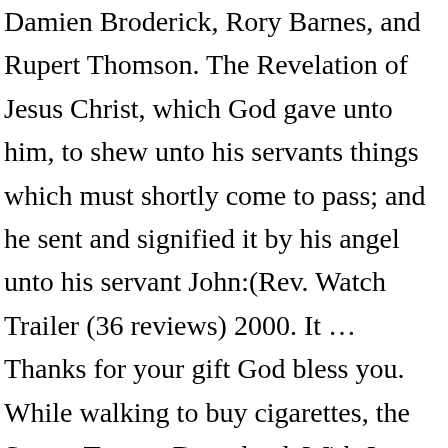Damien Broderick, Rory Barnes, and Rupert Thomson. The Revelation of Jesus Christ, which God gave unto him, to shew unto his servants things which must shortly come to pass; and he sent and signified it by his angel unto his servant John:(Rev. Watch Trailer (36 reviews) 2000. It … Thanks for your gift God bless you. While walking to buy cigarettes, the Server Torrent Download. With Jason Bracht, Drew Bradley, Robet Bruber, Rhonda Cusumano. Comments. Rev.1 [1] The Revelation of Jesus Christ, which God gave unto